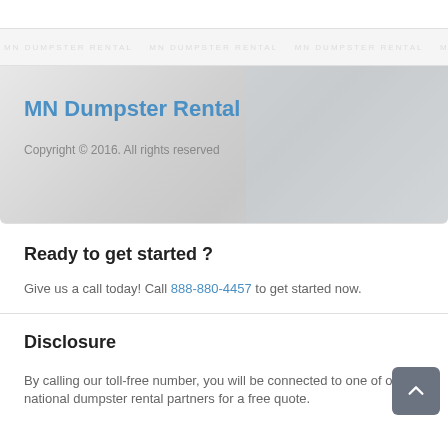watermark background strip
MN Dumpster Rental
Copyright © 2016. All rights reserved
Ready to get started ?
Give us a call today! Call 888-880-4457 to get started now.
Disclosure
By calling our toll-free number, you will be connected to one of our national dumpster rental partners for a free quote.